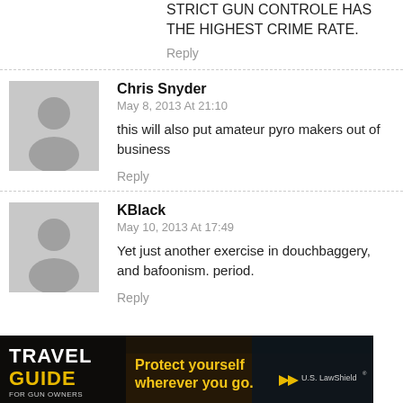STRICT GUN CONTROLE HAS THE HIGHEST CRIME RATE.
Reply
Chris Snyder
May 8, 2013 At 21:10
this will also put amateur pyro makers out of business
Reply
KBlack
May 10, 2013 At 17:49
Yet just another exercise in douchbaggery, and bafoonism. period.
Reply
[Figure (photo): Travel Guide for Gun Owners advertisement banner: dark background with text 'TRAVEL GUIDE FOR GUN OWNERS', 'Protect yourself wherever you go.' with arrow graphics and U.S. LawShield logo]